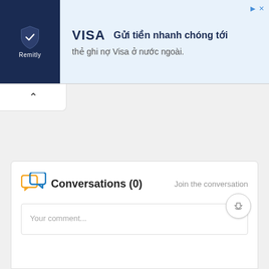[Figure (screenshot): Remitly/Visa advertisement banner with dark navy left panel showing Remitly logo and light blue right panel with VISA text and Vietnamese text 'Gửi tiền nhanh chóng tới thẻ ghi nợ Visa ở nước ngoài.']
Gửi tiền nhanh chóng tới thẻ ghi nợ Visa ở nước ngoài.
Conversations (0)
Join the conversation
Your comment...